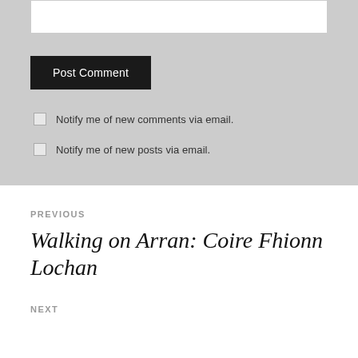[Figure (screenshot): White textarea input box at top of grey section]
Post Comment
Notify me of new comments via email.
Notify me of new posts via email.
PREVIOUS
Walking on Arran: Coire Fhionn Lochan
NEXT